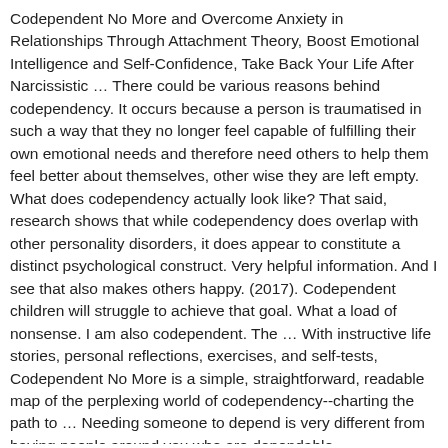Codependent No More and Overcome Anxiety in Relationships Through Attachment Theory, Boost Emotional Intelligence and Self-Confidence, Take Back Your Life After Narcissistic … There could be various reasons behind codependency. It occurs because a person is traumatised in such a way that they no longer feel capable of fulfilling their own emotional needs and therefore need others to help them feel better about themselves, other wise they are left empty. What does codependency actually look like? That said, research shows that while codependency does overlap with other personality disorders, it does appear to constitute a distinct psychological construct. Very helpful information. And I see that also makes others happy. (2017). Codependent children will struggle to achieve that goal. What a load of nonsense. I am also codependent. The … With instructive life stories, personal reflections, exercises, and self-tests, Codependent No More is a simple, straightforward, readable map of the perplexing world of codependency--charting the path to … Needing someone to depend is very different from having people around you who are dependable, codependency is a need, relentless need that drives a person to fulfill emotional needs through others for themselves. I know this because I suffered it, and became in some was codependent myself. It manifested in my father, my two siblings, one of my two children. I've fixed the link 👍, Thank you very much. I appreciate this article. I asked my dad where she was and he said she's gone and won't be back. Plus, many children suffer from anxiety disorders, which are related to both codependency and anxiety. Co-Dependency makes perfect sense. It's Trying to Save Us. Since these codependent children grow up not having their developmental needs met either, this can create a cycle of